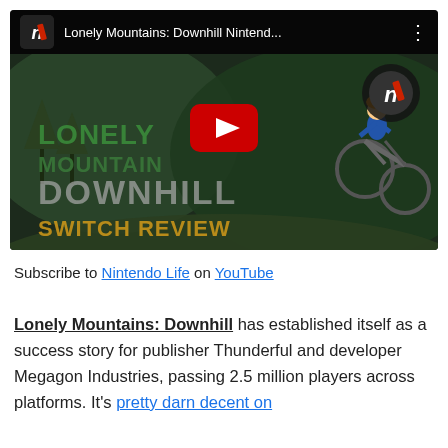[Figure (screenshot): YouTube video thumbnail for 'Lonely Mountains: Downhill Nintendo Switch Review' by Nintendo Life channel. Shows game title text overlaid on a mountain biking scene with a player character airborne on a bike. YouTube play button in center.]
Subscribe to Nintendo Life on YouTube
Lonely Mountains: Downhill has established itself as a success story for publisher Thunderful and developer Megagon Industries, passing 2.5 million players across platforms. It's pretty darn decent on